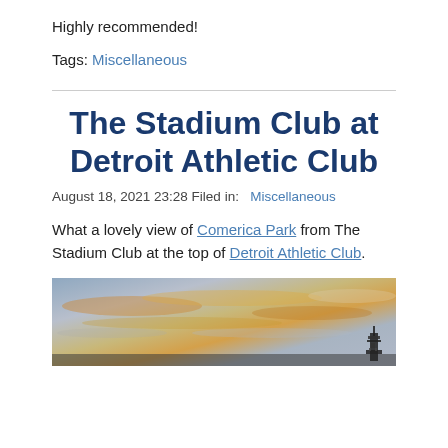Highly recommended!
Tags: Miscellaneous
The Stadium Club at Detroit Athletic Club
August 18, 2021 23:28 Filed in:   Miscellaneous
What a lovely view of Comerica Park from The Stadium Club at the top of Detroit Athletic Club.
[Figure (photo): Sunset sky with orange and golden clouds viewed from The Stadium Club at Detroit Athletic Club, with a tower silhouette visible at lower right.]